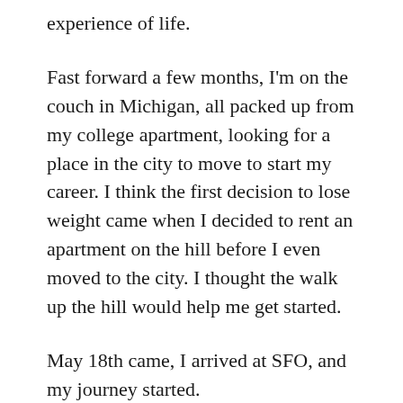experience of life.
Fast forward a few months, I'm on the couch in Michigan, all packed up from my college apartment, looking for a place in the city to move to start my career. I think the first decision to lose weight came when I decided to rent an apartment on the hill before I even moved to the city. I thought the walk up the hill would help me get started.
May 18th came, I arrived at SFO, and my journey started.
My coworker at the time convinced me to take on a challenge of running 2 miles a day for a month. I thought he was crazy. Not only could I not run for 1 mile a couple of months ago, the simple act of